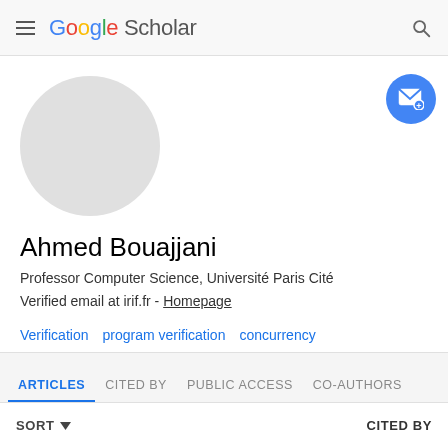Google Scholar
[Figure (photo): Circular avatar placeholder (grey circle, no photo)]
Ahmed Bouajjani
Professor Computer Science, Université Paris Cité
Verified email at irif.fr - Homepage
Verification
program verification
concurrency
concurrency theory
automata
ARTICLES   CITED BY   PUBLIC ACCESS   CO-AUTHORS
SORT ▾   CITED BY